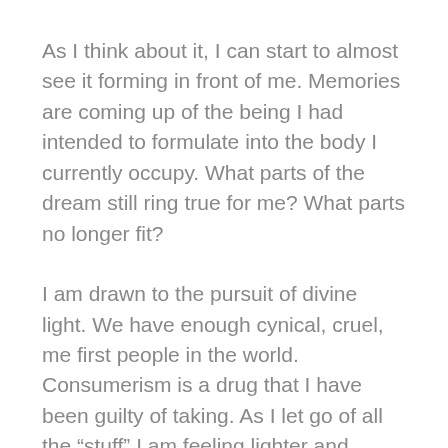As I think about it, I can start to almost see it forming in front of me. Memories are coming up of the being I had intended to formulate into the body I currently occupy. What parts of the dream still ring true for me? What parts no longer fit?
I am drawn to the pursuit of divine light. We have enough cynical, cruel, me first people in the world. Consumerism is a drug that I have been guilty of taking. As I let go of all the “stuff” I am feeling lighter and lighter.
For now, my intentions is to dedicate my time here to being present. Noting the changes, opportunities to learn and unlearn, don’t talk so